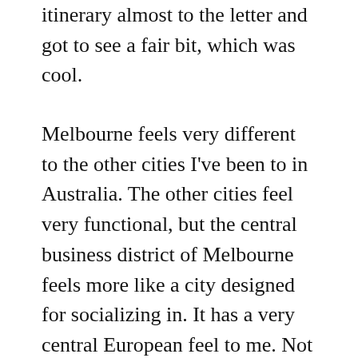itinerary almost to the letter and got to see a fair bit, which was cool.
Melbourne feels very different to the other cities I've been to in Australia. The other cities feel very functional, but the central business district of Melbourne feels more like a city designed for socializing in. It has a very central European feel to me. Not at all what I expected.
Anyway, back to the conference. The work I did on my talk really paid off. The change to the first half really made a difference. Sometimes the demos actually obscure the message, rather than enforcing it. Removing them from the first half of the talk gave it a lot more punch and made it feel like I was staying on message